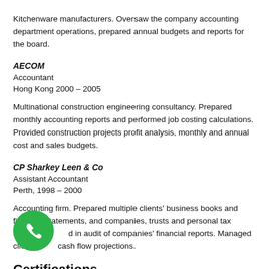Kitchenware manufacturers. Oversaw the company accounting department operations, prepared annual budgets and reports for the board.
AECOM
Accountant
Hong Kong 2000 – 2005
Multinational construction engineering consultancy. Prepared monthly accounting reports and performed job costing calculations. Provided construction projects profit analysis, monthly and annual cost and sales budgets.
CP Sharkey Leen & Co
Assistant Accountant
Perth, 1998 – 2000
Accounting firm. Prepared multiple clients' business books and financial statements, and companies, trusts and personal tax returns. Assisted in audit of companies' financial reports. Managed clients' cash flow projections.
Certifications